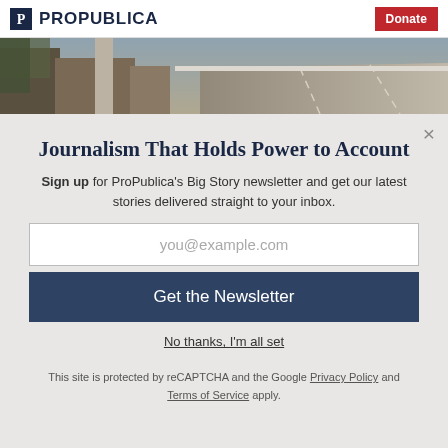ProPublica | Donate
[Figure (photo): Outdoor photograph showing buildings and a road/bridge, muted earthy tones]
Journalism That Holds Power to Account
Sign up for ProPublica's Big Story newsletter and get our latest stories delivered straight to your inbox.
you@example.com
Get the Newsletter
No thanks, I'm all set
This site is protected by reCAPTCHA and the Google Privacy Policy and Terms of Service apply.